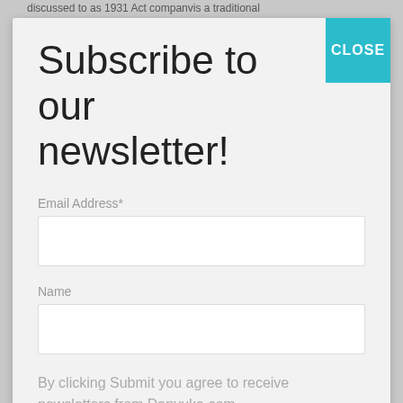discussed to as 1931 Act companvis a traditional
Subscribe to our newsletter!
Email Address*
Name
By clicking Submit you agree to receive newsletters from Danyuka.com.
We promise we will not spam you!
Subscribe